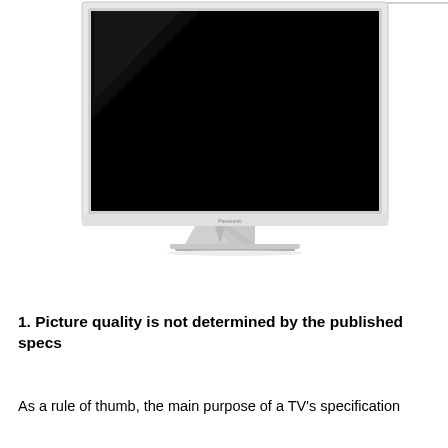[Figure (photo): A Panasonic flat-screen television with a slim silver/white bezel and a V-shaped silver stand, photographed against a white background. The screen is black/dark. Only the top portion and stand of the TV are visible, cropped at the top of the page.]
1. Picture quality is not determined by the published specs
As a rule of thumb, the main purpose of a TV's specification